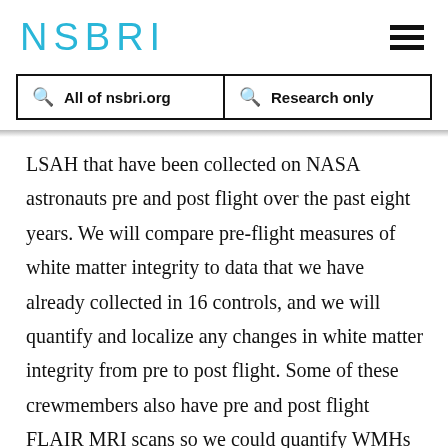NSBRI
All of nsbri.org   Research only
LSAH that have been collected on NASA astronauts pre and post flight over the past eight years. We will compare pre-flight measures of white matter integrity to data that we have already collected in 16 controls, and we will quantify and localize any changes in white matter integrity from pre to post flight. Some of these crewmembers also have pre and post flight FLAIR MRI scans so we could quantify WMHs in these individuals and examine how they relate to diffusion weighted metrics.